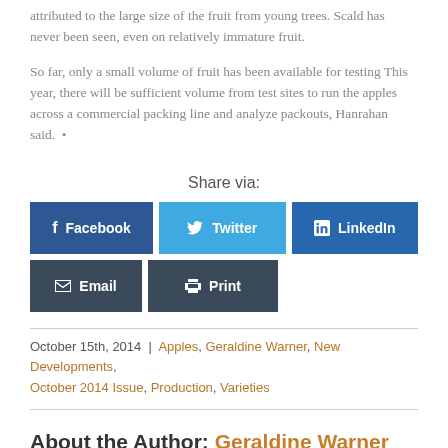attributed to the large size of the fruit from young trees. Scald has never been seen, even on relatively immature fruit.
So far, only a small volume of fruit has been available for testing This year, there will be sufficient volume from test sites to run the apples across a commercial packing line and analyze packouts, Hanrahan said.  •
Share via:
[Figure (infographic): Social share buttons: Facebook, Twitter, LinkedIn, Email, Print]
October 15th, 2014  |  Apples, Geraldine Warner, New Developments, October 2014 Issue, Production, Varieties
About the Author: Geraldine Warner